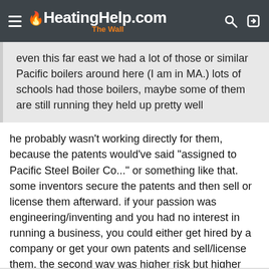HeatingHelp.com The Wall
even this far east we had a lot of those or similar Pacific boilers around here (I am in MA.) lots of schools had those boilers, maybe some of them are still running they held up pretty well
he probably wasn't working directly for them, because the patents would've said "assigned to Pacific Steel Boiler Co..." or something like that. some inventors secure the patents and then sell or license them afterward. if your passion was engineering/inventing and you had no interest in running a business, you could either get hired by a company or get your own patents and sell/license them. the second way was higher risk but higher reward.